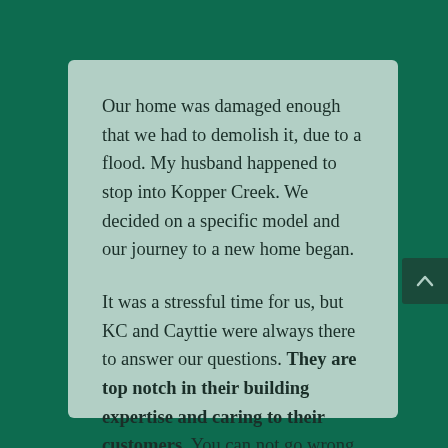Our home was damaged enough that we had to demolish it, due to a flood. My husband happened to stop into Kopper Creek. We decided on a specific model and our journey to a new home began.

It was a stressful time for us, but KC and Cayttie were always there to answer our questions. They are top notch in their building expertise and caring to their customers. You can not go wrong choosing this company for your home needs.